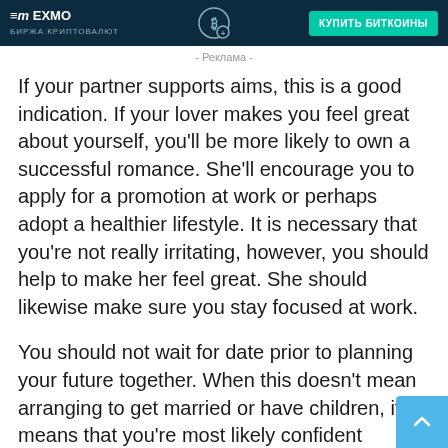[Figure (other): EXMO cryptocurrency exchange advertisement banner with logo, Bitcoin icon, and 'КУПИТЬ БИТКОИНЫ' (Buy Bitcoin) button]
- Реклама -
If your partner supports aims, this is a good indication. If your lover makes you feel great about yourself, you'll be more likely to own a successful romance. She'll encourage you to apply for a promotion at work or perhaps adopt a healthier lifestyle. It is necessary that you're not really irritating, however, you should help to make her feel great. She should likewise make sure you stay focused at work.
You should not wait for date prior to planning your future together. When this doesn't mean arranging to get married or have children, it means that you're most likely confident